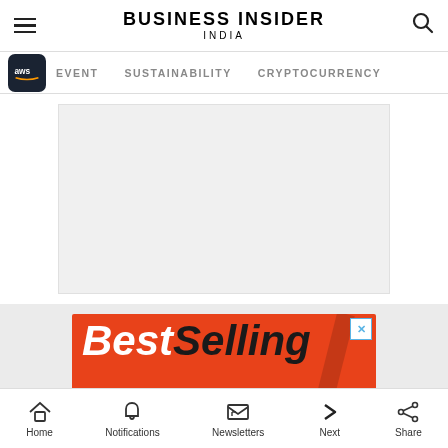BUSINESS INSIDER INDIA
[Figure (screenshot): Navigation bar with AWS logo, EVENT, SUSTAINABILITY, CRYPTOCURRENCY menu items]
[Figure (other): Gray advertisement placeholder box]
[Figure (other): BestSelling advertisement banner on orange background with text: Best Selling - Our Most Popular Products - Updated Weekly!]
Home  Notifications  Newsletters  Next  Share